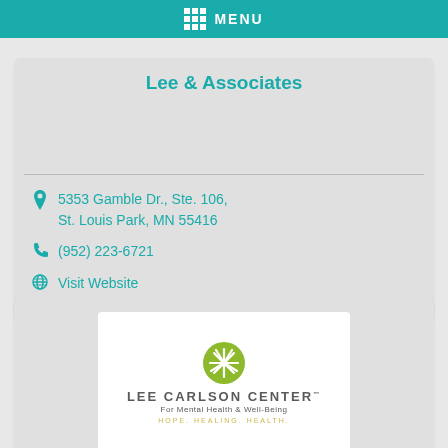MENU
Lee & Associates
5353 Gamble Dr., Ste. 106, St. Louis Park, MN 55416
(952) 223-6721
Visit Website
[Figure (logo): Lee Carlson Center for Mental Health & Well-Being logo with green starburst icon and tagline HOPE. HEALING. HEALTH.]